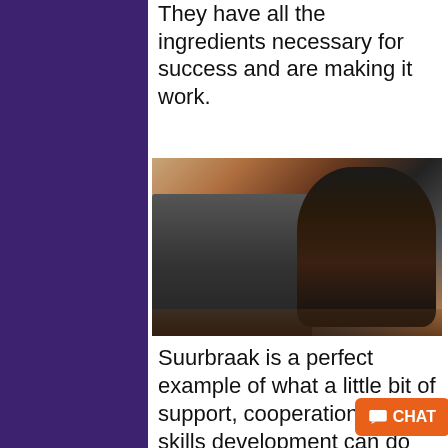They have all the ingredients necessary for success and are making it work.
[Figure (photo): A smiling person wearing a black beanie and dark jacket, operating an espresso machine at a cafe counter. There is a red panel visible behind the machine.]
Suurbraak is a perfect example of what a little bit of support, cooperation and skills development can do for a small rural community that faces da... battles of things like minimal